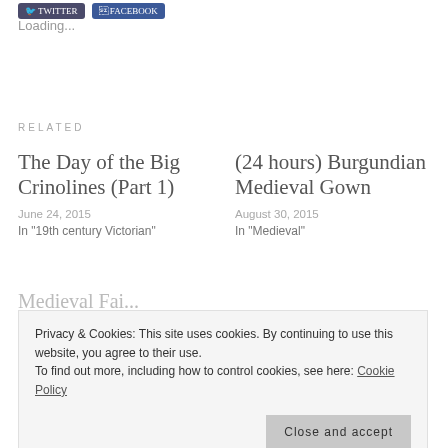[Figure (screenshot): Twitter and Facebook share buttons at top of page]
Loading...
RELATED
The Day of the Big Crinolines (Part 1)
June 24, 2015
In "19th century Victorian"
(24 hours) Burgundian Medieval Gown
August 30, 2015
In "Medieval"
Privacy & Cookies: This site uses cookies. By continuing to use this website, you agree to their use.
To find out more, including how to control cookies, see here: Cookie Policy
Close and accept
CATEGORIES  EVERYDAY LIFE